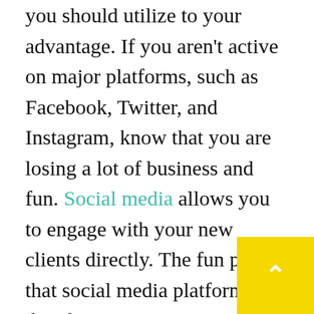you should utilize to your advantage. If you aren't active on major platforms, such as Facebook, Twitter, and Instagram, know that you are losing a lot of business and fun. Social media allows you to engage with your new clients directly. The fun part is that social media platforms are that they support various file formats. Therefore, if you need to share a tutorial with your fans, it's much easier on either platform. With social media, you don't have to spend much to engage new clients. If you are operating with a tight budget, then you should make use of social media. Be active on social media pages and answer your clients whenever they have an inquiry. The fast